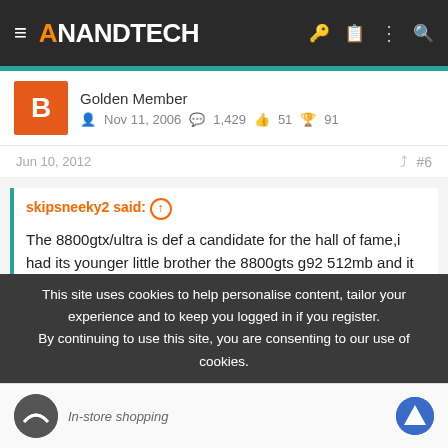AnandTech
Golden Member
Nov 11, 2006   1,429   51   91
Jun 10, 2012   #6
skipsneeky2 said: The 8800gtx/ultra is def a candidate for the hall of fame,i had its younger little brother the 8800gts g92 512mb and it is still trucking,i can only imagine the population of gamer's still using such a piece of history such as the 8800gtx/ultra.

8800 series was a good run and still is a decent candidate for a low
This site uses cookies to help personalise content, tailor your experience and to keep you logged in if you register. By continuing to use this site, you are consenting to our use of cookies.